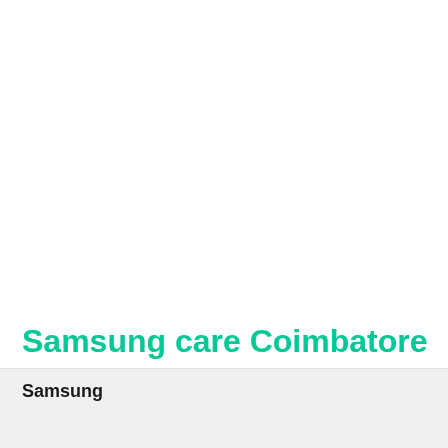Samsung care Coimbatore
| Samsung |